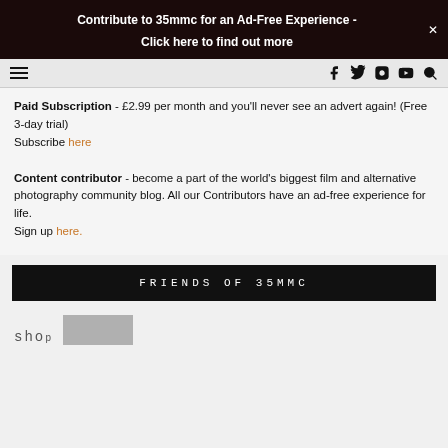Contribute to 35mmc for an Ad-Free Experience - Click here to find out more
[Figure (screenshot): Navigation bar with hamburger menu icon on left and social media icons (Facebook, Twitter, Instagram, YouTube) and search icon on right]
Paid Subscription - £2.99 per month and you'll never see an advert again! (Free 3-day trial)
Subscribe here
Content contributor - become a part of the world's biggest film and alternative photography community blog. All our Contributors have an ad-free experience for life.
Sign up here.
FRIENDS OF 35MMC
[Figure (other): Bottom strip with partial shop text and grey image block]